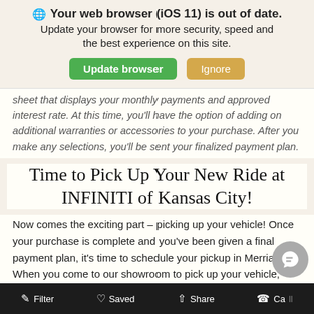Your web browser (iOS 11) is out of date. Update your browser for more security, speed and the best experience on this site. [Update browser] [Ignore]
sheet that displays your monthly payments and approved interest rate. At this time, you'll have the option of adding on additional warranties or accessories to your purchase. After you make any selections, you'll be sent your finalized payment plan.
Time to Pick Up Your New Ride at INFINITI of Kansas City!
Now comes the exciting part – picking up your vehicle! Once your purchase is complete and you've been given a final payment plan, it's time to schedule your pickup in Merriam. When you come to our showroom to pick up your vehicle, you'll need to make your down
Filter   Saved   Share   Call